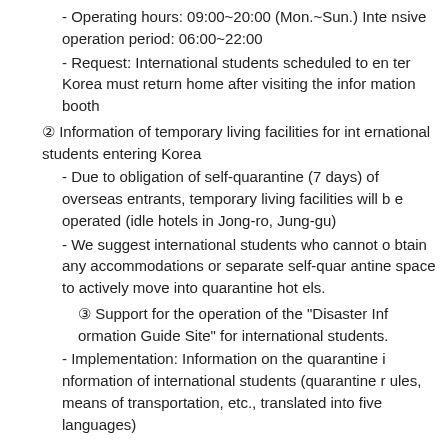- Operating hours: 09:00~20:00 (Mon.~Sun.) Intensive operation period: 06:00~22:00
- Request: International students scheduled to enter Korea must return home after visiting the information booth
② Information of temporary living facilities for international students entering Korea
- Due to obligation of self-quarantine (7 days) of overseas entrants, temporary living facilities will be operated (idle hotels in Jong-ro, Jung-gu)
- We suggest international students who cannot obtain any accommodations or separate self-quarantine space to actively move into quarantine hotels.
③ Support for the operation of the "Disaster Information Guide Site" for international students.
- Implementation: Information on the quarantine information of international students (quarantine rules, means of transportation, etc., translated into five languages)